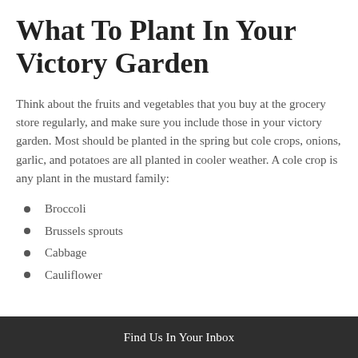What To Plant In Your Victory Garden
Think about the fruits and vegetables that you buy at the grocery store regularly, and make sure you include those in your victory garden. Most should be planted in the spring but cole crops, onions, garlic, and potatoes are all planted in cooler weather. A cole crop is any plant in the mustard family:
Broccoli
Brussels sprouts
Cabbage
Cauliflower
Find Us In Your Inbox